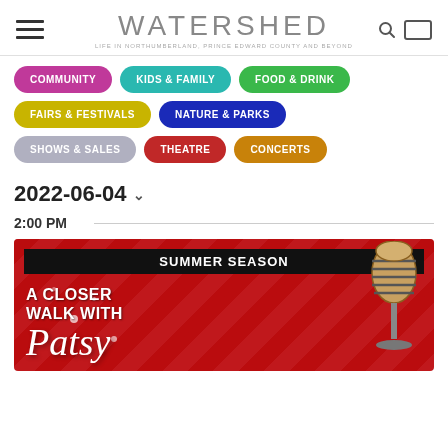WATERSHED
COMMUNITY
KIDS & FAMILY
FOOD & DRINK
FAIRS & FESTIVALS
NATURE & PARKS
SHOWS & SALES
THEATRE
CONCERTS
2022-06-04
2:00 PM
[Figure (photo): Summer Season promotional banner for 'A Closer Walk With Patsy' show, red background with diagonal stripes and a vintage microphone]